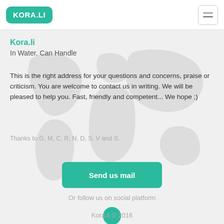KORA.LI
Kora.li
In Water. Can Handle
This is the right address for your questions and concerns, praise or criticism. You are welcome to contact us in writing. We will be pleased to help you. Fast, friendly and competent... We hope ;)
Thanks to G, M, C, R, N, D, S, V and S.
Send us mail
Or follow us on social platform
[Figure (illustration): Teal circle social media icon]
Kora.li © 2016